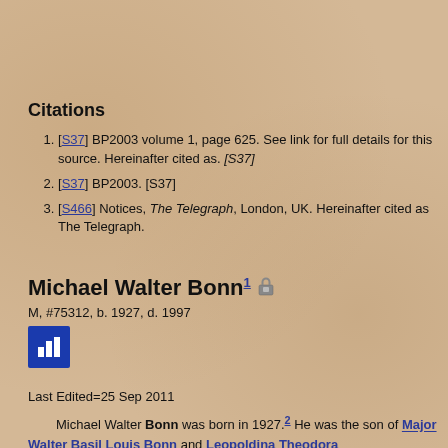Citations
[S37] BP2003 volume 1, page 625. See link for full details for this source. Hereinafter cited as. [S37]
[S37] BP2003. [S37]
[S466] Notices, The Telegraph, London, UK. Hereinafter cited as The Telegraph.
Michael Walter Bonn1
M, #75312, b. 1927, d. 1997
Last Edited=25 Sep 2011
Michael Walter Bonn was born in 1927.2 He was the son of Major Walter Basil Louis Bonn and Leopoldina Theodora